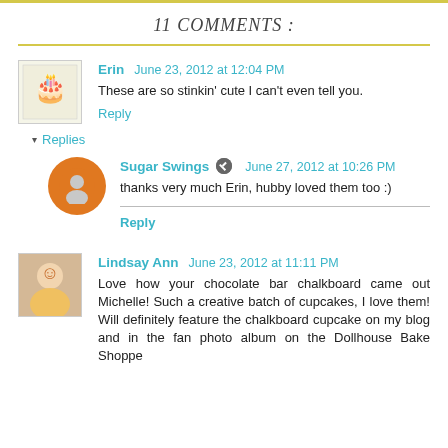11 COMMENTS :
Erin June 23, 2012 at 12:04 PM
These are so stinkin' cute I can't even tell you.
Reply
Replies
Sugar Swings June 27, 2012 at 10:26 PM
thanks very much Erin, hubby loved them too :)
Reply
Lindsay Ann June 23, 2012 at 11:11 PM
Love how your chocolate bar chalkboard came out Michelle! Such a creative batch of cupcakes, I love them! Will definitely feature the chalkboard cupcake on my blog and in the fan photo album on the Dollhouse Bake Shoppe